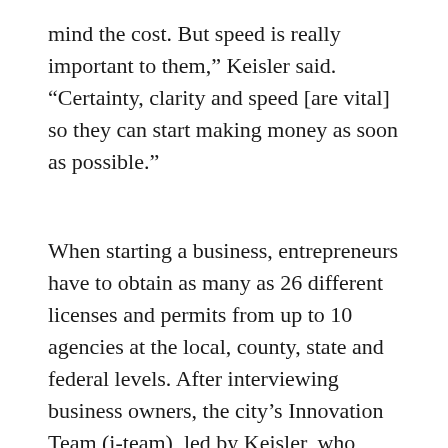mind the cost. But speed is really important to them,” Keisler said. “Certainty, clarity and speed [are vital] so they can start making money as soon as possible.”
When starting a business, entrepreneurs have to obtain as many as 26 different licenses and permits from up to 10 agencies at the local, county, state and federal levels. After interviewing business owners, the city’s Innovation Team (i-team), led by Keisler, who served as director until December, learned that there was no one-stop shop for those wanting to open a business, making the process overly